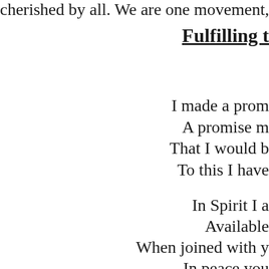cherished by all. We are one movement, o
Fulfilling t
I made a prom
A promise m
That I would b
To this I have
In Spirit I a
Available
When joined with y
In peace you
A Friend unl
No other ca
Whose constanc